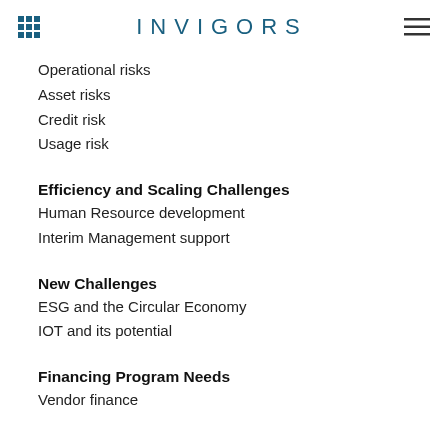INVIGORS
Operational risks
Asset risks
Credit risk
Usage risk
Efficiency and Scaling Challenges
Human Resource development
Interim Management support
New Challenges
ESG and the Circular Economy
IOT and its potential
Financing Program Needs
Vendor finance